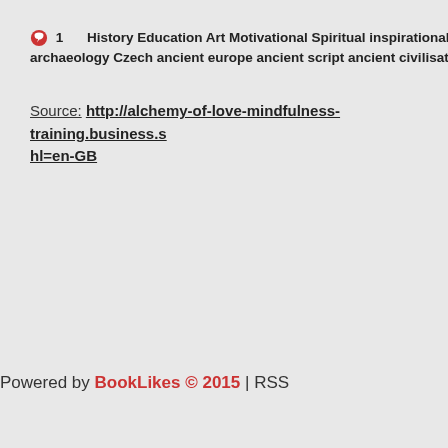1   History Education Art Motivational Spiritual inspirational Archaeology Czech ancient europe ancient script ancient civilisation arto
Source: http://alchemy-of-love-mindfulness-training.business.s hl=en-GB
Powered by BookLikes © 2015 | RSS